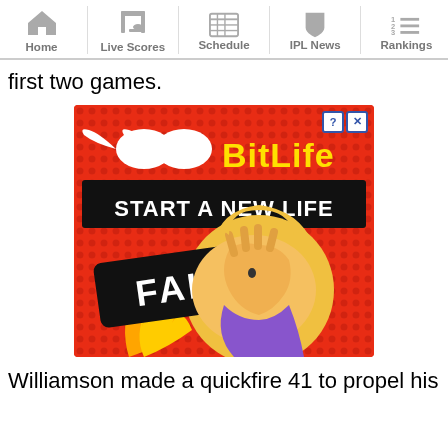Home | Live Scores | Schedule | IPL News | Rankings
first two games.
[Figure (illustration): BitLife advertisement showing 'START A NEW LIFE' with a cartoon girl doing a facepalm and the word FAIL, on a red dotted background]
Williamson made a quickfire 41 to propel his